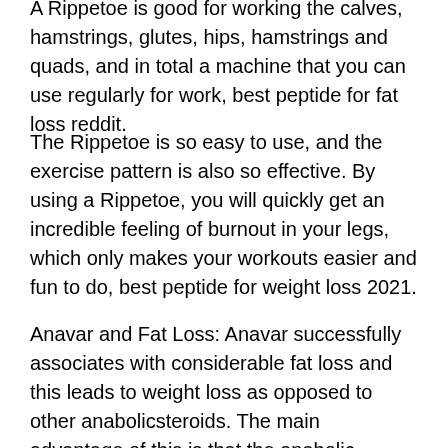A Rippetoe is good for working the calves, hamstrings, glutes, hips, hamstrings and quads, and in total a machine that you can use regularly for work, best peptide for fat loss reddit.
The Rippetoe is so easy to use, and the exercise pattern is also so effective. By using a Rippetoe, you will quickly get an incredible feeling of burnout in your legs, which only makes your workouts easier and fun to do, best peptide for weight loss 2021.
Anavar and Fat Loss: Anavar successfully associates with considerable fat loss and this leads to weight loss as opposed to other anabolicsteroids. The main advantage of this is that the anabolic steroids are used for a very long time, thus it can keep the body active much